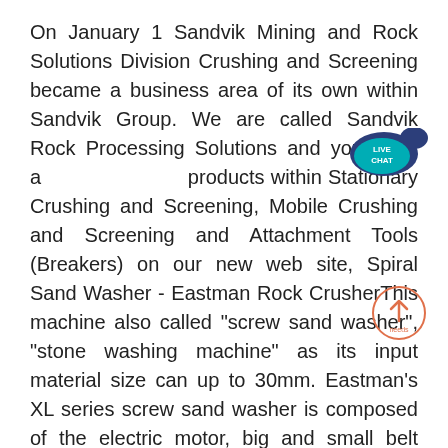On January 1 Sandvik Mining and Rock Solutions Division Crushing and Screening became a business area of its own within Sandvik Group. We are called Sandvik Rock Processing Solutions and you'll find all products within Stationary Crushing and Screening, Mobile Crushing and Screening and Attachment Tools (Breakers) on our new web site, Spiral Sand Washer - Eastman Rock CrusherThis machine also called "screw sand washer", "stone washing machine" as its input material size can up to 30mm. Eastman's XL series screw sand washer is composed of the electric motor, big and small belt pulleys, triangle belt and gear reducer. When a spiral is working, the spiral sand washer needs to adopt an inclination of 15 ° tilt. Rock Crusher- Jaw& Cone Rock Crushing MachineThe rock crushing machine mainly used in the primary stage is jaw crusher. As everyone knows, diesel jaw crusher is a coarsely crushing machine. Besides, this kind of crusher machine is widely used to crush rock and large pieces of materials.
[Figure (other): Live Chat badge icon — teal speech bubble with text LIVE CHAT]
[Figure (other): Scroll-to-top button — circle with upward arrow and text 'needs']